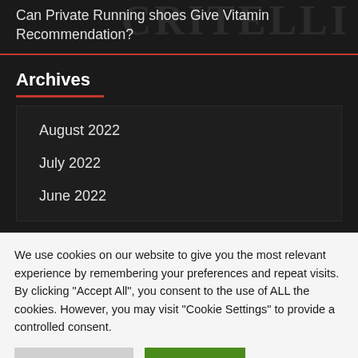Can Private Running shoes Give Vitamin Recommendation?
Archives
August 2022
July 2022
June 2022
We use cookies on our website to give you the most relevant experience by remembering your preferences and repeat visits. By clicking "Accept All", you consent to the use of ALL the cookies. However, you may visit "Cookie Settings" to provide a controlled consent.
Cookie Settings
Accept All